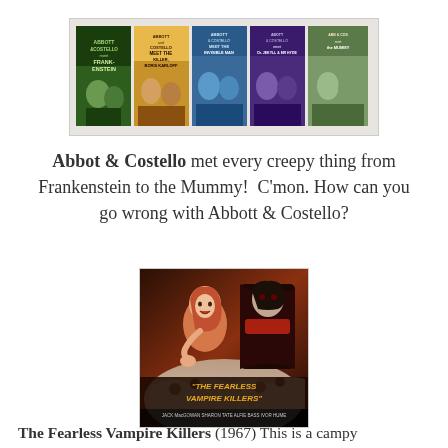[Figure (photo): A strip of five Abbott and Costello horror comedy movie posters including Abbott and Costello Meet Frankenstein, Meet the Killer Boris Karloff, Meet the Invisible Man, and Abbott and Costello Meet the Mummy]
Abbot & Costello met every creepy thing from Frankenstein to the Mummy!  C'mon. How can you go wrong with Abbott & Costello?
[Figure (photo): Movie poster for The Fearless Vampire Killers (1967) showing a dramatic vampire scene with a woman and a vampire, and text reading THE FEARLESS VAMPIRE KILLERS with cast names Jack MacGowran, Sharon Tate, Alfie Bass, Ivor Hume]
The Fearless Vampire Killers (1967) This is a campy